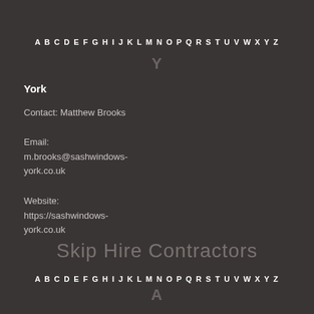A B C D E F G H I J K L M N O P Q R S T U V W X Y Z
Y
York
Contact: Matthew Brooks
Email:
m.brooks@sashwindows-york.co.uk
Website:
https://sashwindows-york.co.uk
Skip Hire Contractors
A B C D E F G H I J K L M N O P Q R S T U V W X Y Z
A